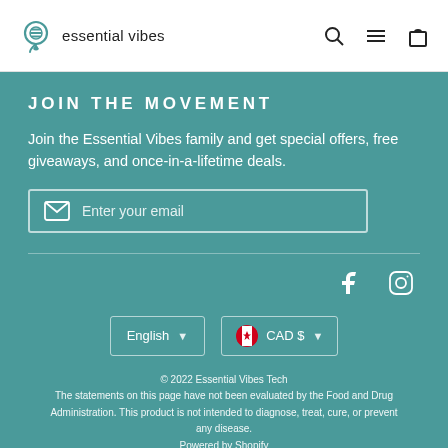essential vibes
JOIN THE MOVEMENT
Join the Essential Vibes family and get special offers, free giveaways, and once-in-a-lifetime deals.
Enter your email
[Figure (logo): Facebook and Instagram social media icons in white]
English   CAD $
© 2022 Essential Vibes Tech
The statements on this page have not been evaluated by the Food and Drug Administration. This product is not intended to diagnose, treat, cure, or prevent any disease.
Powered by Shopify